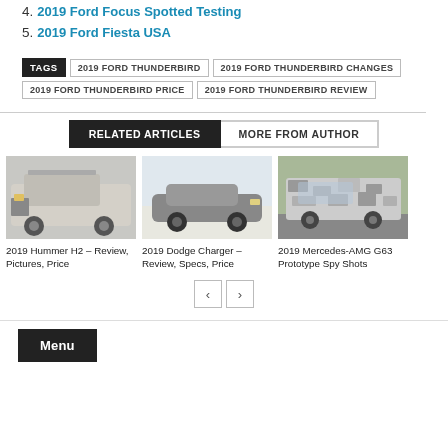4. 2019 Ford Focus Spotted Testing
5. 2019 Ford Fiesta USA
TAGS  2019 FORD THUNDERBIRD  2019 FORD THUNDERBIRD CHANGES  2019 FORD THUNDERBIRD PRICE  2019 FORD THUNDERBIRD REVIEW
RELATED ARTICLES  MORE FROM AUTHOR
[Figure (photo): 2019 Hummer H2 – Review, Pictures, Price]
2019 Hummer H2 – Review, Pictures, Price
[Figure (photo): 2019 Dodge Charger – Review, Specs, Price]
2019 Dodge Charger – Review, Specs, Price
[Figure (photo): 2019 Mercedes-AMG G63 Prototype Spy Shots]
2019 Mercedes-AMG G63 Prototype Spy Shots
Menu